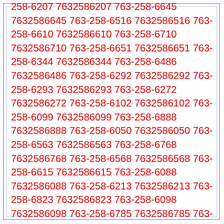258-6207 7632586207 763-258-6645 7632586645 763-258-6516 7632586516 763-258-6610 7632586610 763-258-6710 7632586710 763-258-6651 7632586651 763-258-6344 7632586344 763-258-6486 7632586486 763-258-6292 7632586292 763-258-6293 7632586293 763-258-6272 7632586272 763-258-6102 7632586102 763-258-6099 7632586099 763-258-6888 7632586888 763-258-6050 7632586050 763-258-6563 7632586563 763-258-6768 7632586768 763-258-6568 7632586568 763-258-6615 7632586615 763-258-6088 7632586088 763-258-6213 7632586213 763-258-6823 7632586823 763-258-6098 7632586098 763-258-6785 7632586785 763-258-6984 7632586984 763-258-6198 7632586198 763-258-6230 7632586230 763-258-6371 7632586371 763-258-6100 7632586100 763-258-6064 7632586064 763-258-6497 7632586497 763-258-6467 7632586467 763-258-6445 7632586445 763-258-6257 7632586257 763-258-6732